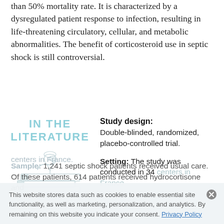than 50% mortality rate. It is characterized by a dysregulated patient response to infection, resulting in life-threatening circulatory, cellular, and metabolic abnormalities. The benefit of corticosteroid use in septic shock is still controversial.
[Figure (illustration): IN THE LITERATURE label in teal uppercase text with a faded illustration of a stack of books beneath]
Study design: Double-blinded, randomized, placebo-controlled trial.
Setting: The study was conducted in 34 centers in France.
Sample: 1,241 septic shock patients received usual care. Of these patients, 614 patients received hydrocortisone and
This website stores data such as cookies to enable essential site functionality, as well as marketing, personalization, and analytics. By remaining on this website you indicate your consent. Privacy Policy